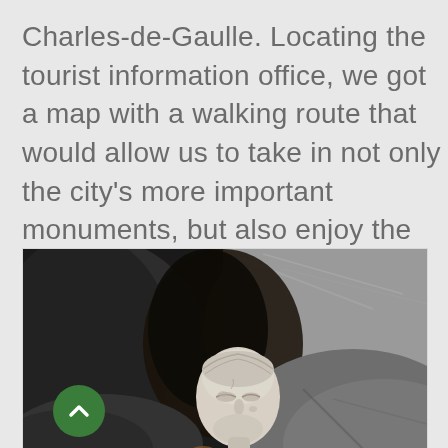Charles-de-Gaulle. Locating the tourist information office, we got a map with a walking route that would allow us to take in not only the city's more important monuments, but also enjoy the town itself.
[Figure (photo): A weathered stone sculptural head (face of a woman or classical figure) nestled between large rough granite rocks, with dark shadowy crevices visible.]